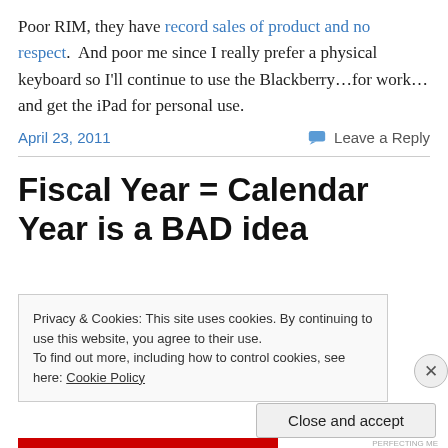Poor RIM, they have record sales of product and no respect.  And poor me since I really prefer a physical keyboard so I'll continue to use the Blackberry…for work…and get the iPad for personal use.
April 23, 2011
Leave a Reply
Fiscal Year = Calendar Year is a BAD idea
Privacy & Cookies: This site uses cookies. By continuing to use this website, you agree to their use. To find out more, including how to control cookies, see here: Cookie Policy
Close and accept